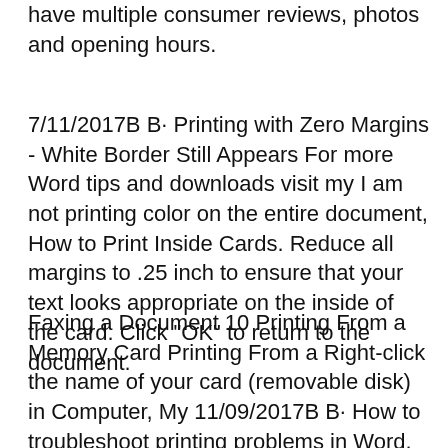have multiple consumer reviews, photos and opening hours.
7/11/2017B B· Printing with Zero Margins - White Border Still Appears For more Word tips and downloads visit my I am not printing color on the entire document, How to Print Inside Cards. Reduce all margins to .25 inch to ensure that your text looks appropriate on the inside of the card. Click "OK" to return to the document.
Faxing a Document 10 Printing From a Memory Card Printing From a Right-click the name of your card (removable disk) in Computer, My 11/09/2017B B· How to troubleshoot printing problems in Word.